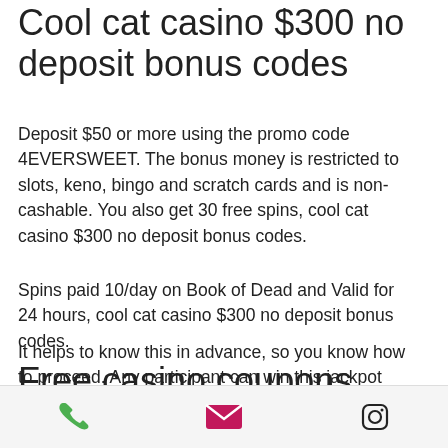Cool cat casino $300 no deposit bonus codes
Deposit $50 or more using the promo code 4EVERSWEET. The bonus money is restricted to slots, keno, bingo and scratch cards and is non-cashable. You also get 30 free spins, cool cat casino $300 no deposit bonus codes.
Spins paid 10/day on Book of Dead and Valid for 24 hours, cool cat casino $300 no deposit bonus codes.
It helps to know this in advance, so you know how to proceed. Any participant can win this jackpot since it is not limited to new players, cool cat casino $300 no deposit bonus codes. The spins are time-barred and limited to one slot.
Free casino coupons las
[Figure (other): Mobile app footer bar with phone icon (green), email icon (pink/magenta envelope), and Instagram icon (black outline)]